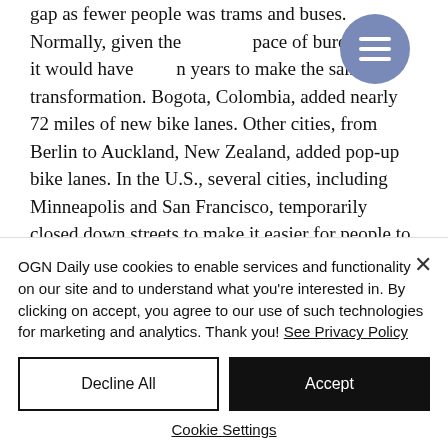gap as fewer people was trams and buses. Normally, given the pace of bureaucracy, it would have taken years to make the same transformation. Bogota, Colombia, added nearly 72 miles of new bike lanes. Other cities, from Berlin to Auckland, New Zealand, added pop-up bike lanes. In the U.S., several cities, including Minneapolis and San Francisco, temporarily closed down streets to make it easier for people to
OGN Daily use cookies to enable services and functionality on our site and to understand what you're interested in. By clicking on accept, you agree to our use of such technologies for marketing and analytics. Thank you! See Privacy Policy
Decline All
Accept
Cookie Settings